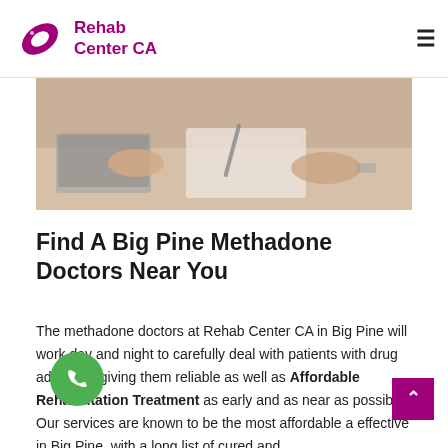Rehab Center CA
[Figure (photo): Two people at a desk, one writing on a clipboard near a laptop — appears to be a medical consultation scene]
Find A Big Pine Methadone Doctors Near You
The methadone doctors at Rehab Center CA in Big Pine will work day and night to carefully deal with patients with drug addiction, giving them reliable as well as Affordable Rehabilitation Treatment as early and as near as possible. Our services are known to be the most affordable and effective in Big Pine, with a long list of cured and